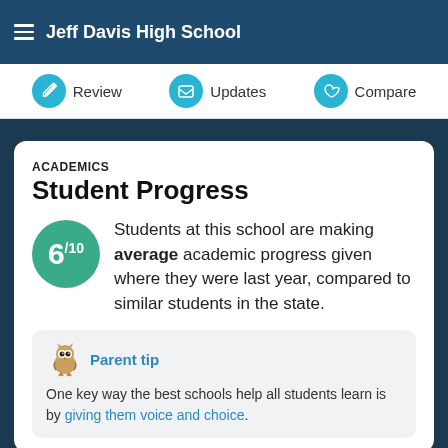Jeff Davis High School
Review  Updates  Compare
ACADEMICS
Student Progress
Students at this school are making average academic progress given where they were last year, compared to similar students in the state.
Parent tip
One key way the best schools help all students learn is by giving them voice and choice.